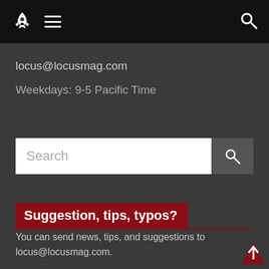locus@locusmag.com navigation bar with rocket logo, hamburger menu, and search icon
locus@locusmag.com
Weekdays: 9-5 Pacific Time
[Figure (screenshot): Search input field with placeholder text 'Search' and a search icon button]
Suggestion, tips, typos?
You can send news, tips, and suggestions to locus@locusmag.com.
If you see problems or bugs on the site, please let us know and include the URL and also which browser you are using.